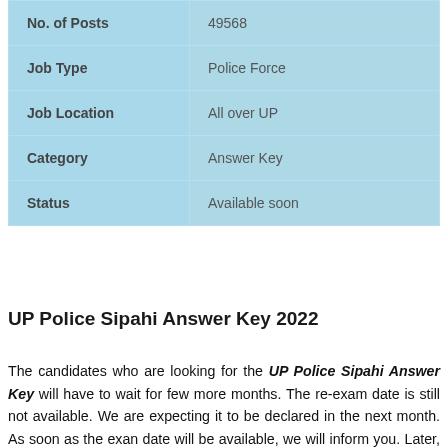| Field | Value |
| --- | --- |
| No. of Posts | 49568 |
| Job Type | Police Force |
| Job Location | All over UP |
| Category | Answer Key |
| Status | Available soon |
UP Police Sipahi Answer Key 2022
The candidates who are looking for the UP Police Sipahi Answer Key will have to wait for few more months. The re-exam date is still not available. We are expecting it to be declared in the next month. As soon as the exan date will be available, we will inform you. Later, UP Police Sipahi Exam Answer Key will be posted here on this page. The